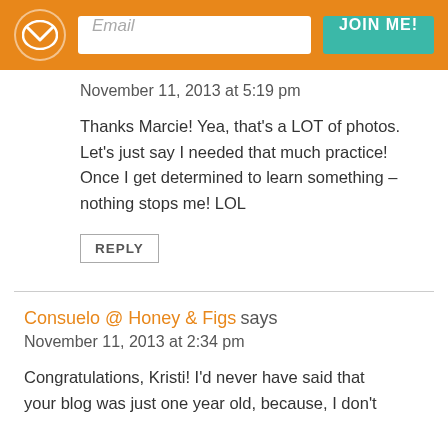[Figure (screenshot): Orange header bar with a circular M logo on the left, an email input field in the center, and a teal JOIN ME! button on the right]
November 11, 2013 at 5:19 pm
Thanks Marcie! Yea, that's a LOT of photos. Let's just say I needed that much practice! Once I get determined to learn something – nothing stops me! LOL
REPLY
Consuelo @ Honey & Figs says
November 11, 2013 at 2:34 pm
Congratulations, Kristi! I'd never have said that your blog was just one year old, because, I don't